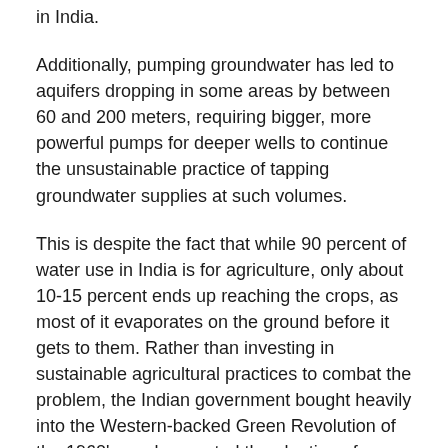in India.
Additionally, pumping groundwater has led to aquifers dropping in some areas by between 60 and 200 meters, requiring bigger, more powerful pumps for deeper wells to continue the unsustainable practice of tapping groundwater supplies at such volumes.
This is despite the fact that while 90 percent of water use in India is for agriculture, only about 10-15 percent ends up reaching the crops, as most of it evaporates on the ground before it gets to them. Rather than investing in sustainable agricultural practices to combat the problem, the Indian government bought heavily into the Western-backed Green Revolution of the 1960's, and promoted the planting of water-intensive crops such as rice.
According to Upmanu Lall, director of the Columbia Water